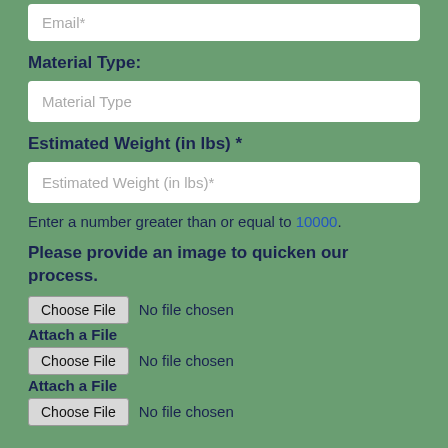Email*
Material Type:
Material Type
Estimated Weight (in lbs) *
Estimated Weight (in lbs)*
Enter a number greater than or equal to 10000.
Please provide an image to quicken our process.
Choose File  No file chosen
Attach a File
Choose File  No file chosen
Attach a File
Choose File  No file chosen